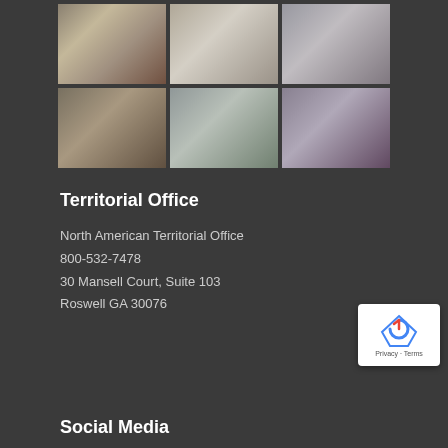[Figure (photo): Six photos arranged in a 3x2 grid showing people in religious/church settings, wearing white robes, in what appears to be an ordination or religious ceremony]
Territorial Office
North American Territorial Office
800-532-7478
30 Mansell Court, Suite 103
Roswell GA 30076
[Figure (other): Google reCAPTCHA badge with Privacy and Terms links]
Social Media